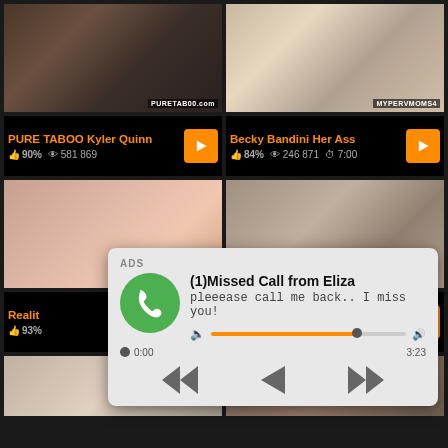[Figure (screenshot): Video thumbnail 1: dark indoor scene with woman]
PURE TABOO Kyler Quinn
90% 581 869
[Figure (screenshot): Video thumbnail 2: woman on bed in bedroom]
Becky Bandini Her Ass
84% 246 871 7:00
[Figure (screenshot): Video thumbnail 3: explicit content]
Realit
93%
[Figure (screenshot): Video thumbnail 4: two people close together]
[Figure (infographic): Notification overlay: ADS - (1)Missed Call from Eliza - pleeease call me back.. I miss you! - audio player with progress bar 0:00 to 3:23 - playback controls]
[Figure (screenshot): Video thumbnail 5: partial bottom left]
[Figure (screenshot): Video thumbnail 6: partial bottom right]